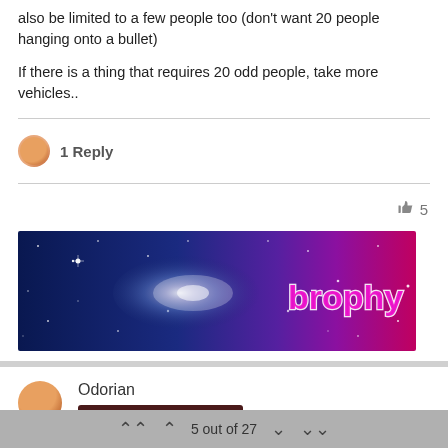also be limited to a few people too (don't want 20 people hanging onto a bullet)
If there is a thing that requires 20 odd people, take more vehicles..
1 Reply
5
[Figure (illustration): Banner image showing a spiral galaxy on a blue-to-purple starfield background with the word 'brophy' in stylized text on the right side over a pink/magenta section]
Odorian
CUBAN LIBERATION ORG...
5 out of 27